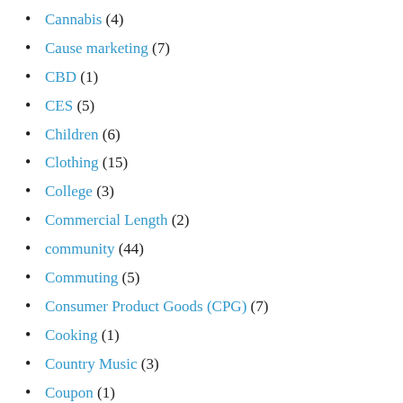Cannabis (4)
Cause marketing (7)
CBD (1)
CES (5)
Children (6)
Clothing (15)
College (3)
Commercial Length (2)
community (44)
Commuting (5)
Consumer Product Goods (CPG) (7)
Cooking (1)
Country Music (3)
Coupon (1)
Creative (29)
Dance (1)